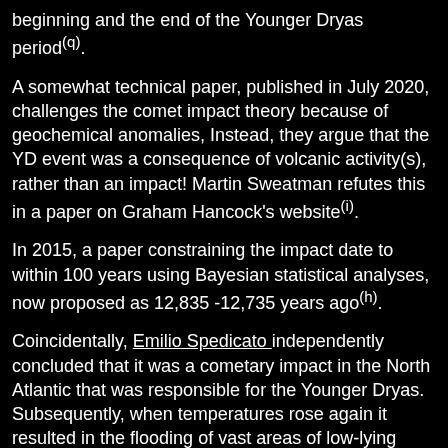beginning and the end of the Younger Dryas period(q).
A somewhat technical paper, published in July 2020, challenges the comet impact theory because of geochemical anomalies, Instead, they argue that the YD event was a consequence of volcanic activity(s), rather than an impact! Martin Sweatman refutes this in a paper on Graham Hancock's website(i).
In 2015, a paper constraining the impact date to within 100 years using Bayesian statistical analyses, now proposed as 12,835 -12,735 years ago(h).
Coincidentally, Emilio Spedicato independently concluded that it was a cometary impact in the North Atlantic that was responsible for the Younger Dryas. Subsequently, when temperatures rose again it resulted in the flooding of vast areas of low-lying landmasses that in Spedicato's opinion included Atlantis, which he locates in Hispaniola.
Conflicting evidence regarding the possibility of the Younger Dryas being caused by such an impact is impartially outlined on the internet(a).